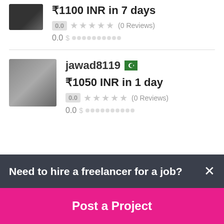₹1100 INR in 7 days
0.0 ★★★★★ (0 Reviews)
0.0 $ ██████████
jawad8119 🇵🇰
₹1050 INR in 1 day
0.0 ★★★★★ (0 Reviews)
0.0 $ ██████████
Need to hire a freelancer for a job?
Post a Project